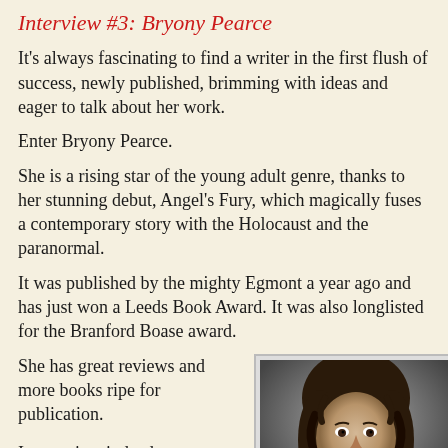Interview #3: Bryony Pearce
It's always fascinating to find a writer in the first flush of success, newly published, brimming with ideas and eager to talk about her work.
Enter Bryony Pearce.
She is a rising star of the young adult genre, thanks to her stunning debut, Angel's Fury, which magically fuses a contemporary story with the Holocaust and the paranormal.
It was published by the mighty Egmont a year ago and has just won a Leeds Book Award. It was also longlisted for the Branford Boase award.
She has great reviews and more books ripe for publication.
Impressive, indeed.
[Figure (photo): Black and white portrait photo of Bryony Pearce, a woman with dark curly hair, smiling]